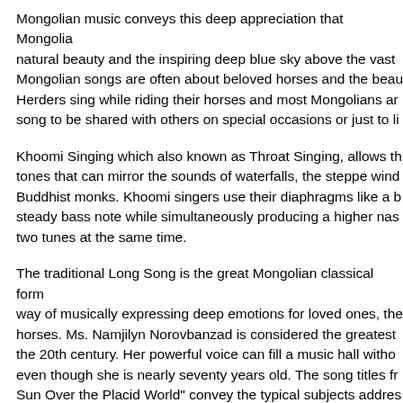Mongolian music conveys this deep appreciation that Mongolia natural beauty and the inspiring deep blue sky above the vast Mongolian songs are often about beloved horses and the beau Herders sing while riding their horses and most Mongolians ar song to be shared with others on special occasions or just to li
Khoomi Singing which also known as Throat Singing, allows th tones that can mirror the sounds of waterfalls, the steppe wind Buddhist monks. Khoomi singers use their diaphragms like a b steady bass note while simultaneously producing a higher nas two tunes at the same time.
The traditional Long Song is the great Mongolian classical form way of musically expressing deep emotions for loved ones, the horses. Ms. Namjilyn Norovbanzad is considered the greatest the 20th century. Her powerful voice can fill a music hall witho even though she is nearly seventy years old. The song titles fr Sun Over the Placid World" convey the typical subjects addres Song tradition. They include, "The Gently Fluttering Wind", "A Sight of the River Herlen", "A Little Bay Steed", "A Cowboy", a Ridge".
Of all the Mongolian musical instruments the Morin Khurr (Hor prominent place in Mongolian musical forms. Legend has it tha beloved horse of a young Mongolian died, he made a musical